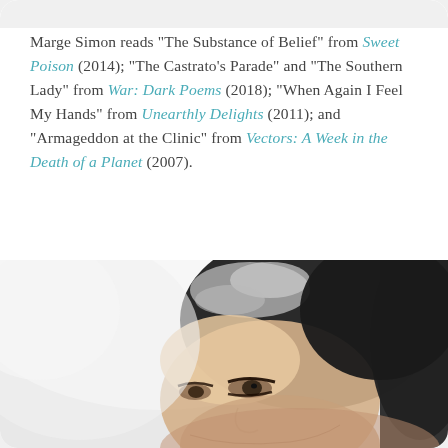Marge Simon reads "The Substance of Belief" from Sweet Poison (2014); "The Castrato's Parade" and "The Southern Lady" from War: Dark Poems (2018); "When Again I Feel My Hands" from Unearthly Delights (2011); and "Armageddon at the Clinic" from Vectors: A Week in the Death of a Planet (2007).
[Figure (photo): Close-up portrait photo of a woman with short dark hair streaked with grey, looking upward, against a bright white/overexposed background]